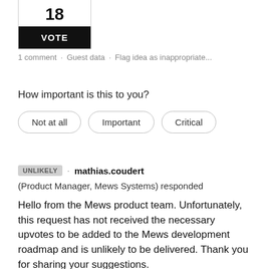18
VOTE
1 comment · Guest data · Flag idea as inappropriate...
How important is this to you?
Not at all
Important
Critical
UNLIKELY · mathias.coudert (Product Manager, Mews Systems) responded
Hello from the Mews product team. Unfortunately, this request has not received the necessary upvotes to be added to the Mews development roadmap and is unlikely to be delivered. Thank you for sharing your suggestions.